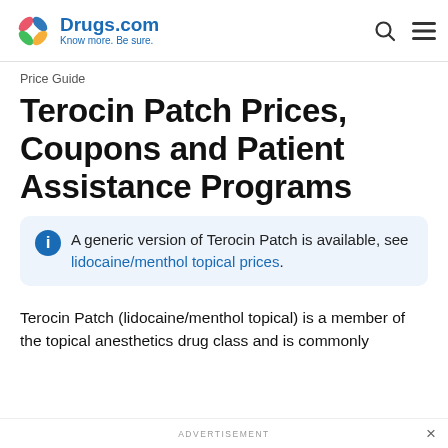Drugs.com Know more. Be sure.
Price Guide
Terocin Patch Prices, Coupons and Patient Assistance Programs
A generic version of Terocin Patch is available, see lidocaine/menthol topical prices.
Terocin Patch (lidocaine/menthol topical) is a member of the topical anesthetics drug class and is commonly